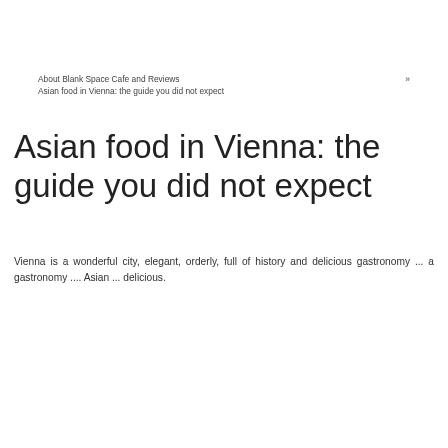About Blank Space Cafe and Reviews » Asian food in Vienna: the guide you did not expect
Asian food in Vienna: the guide you did not expect
Vienna is a wonderful city, elegant, orderly, full of history and delicious gastronomy ... a gastronomy .... Asian ... delicious.